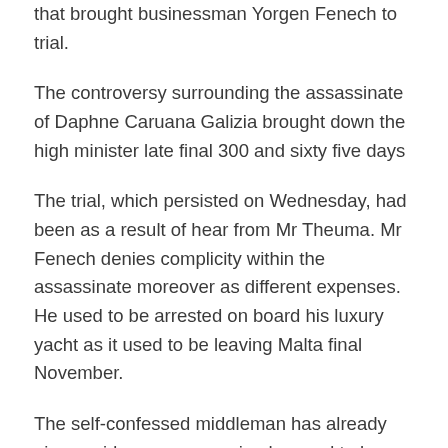that brought businessman Yorgen Fenech to trial.
The controversy surrounding the assassinate of Daphne Caruana Galizia brought down the high minister late final 300 and sixty five days
The trial, which persisted on Wednesday, had been as a result of hear from Mr Theuma. Mr Fenech denies complicity within the assassinate moreover as different expenses. He used to be arrested on board his luxury yacht as it used to be leaving Malta final November.
The self-confessed middleman has already given evidence, announcing he used to be paid by the suspect to rent three males accused of bright within the attack. He has furthermore said that he lives in